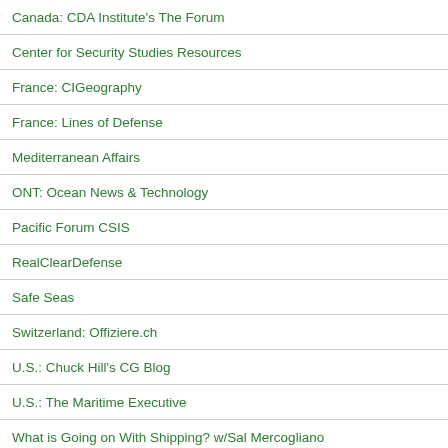Canada: CDA Institute's The Forum
Center for Security Studies Resources
France: CIGeography
France: Lines of Defense
Mediterranean Affairs
ONT: Ocean News & Technology
Pacific Forum CSIS
RealClearDefense
Safe Seas
Switzerland: Offiziere.ch
U.S.: Chuck Hill's CG Blog
U.S.: The Maritime Executive
What is Going on With Shipping? w/Sal Mercogliano